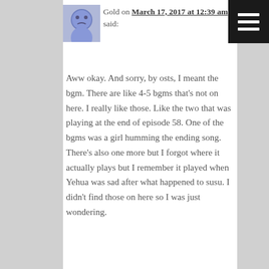[Figure (photo): Avatar image of a blue cartoon face with a neutral/sad expression]
Gold on March 17, 2017 at 12:39 am said:
Aww okay. And sorry, by osts, I meant the bgm. There are like 4-5 bgms that’s not on here. I really like those. Like the two that was playing at the end of episode 58. One of the bgms was a girl humming the ending song. There’s also one more but I forgot where it actually plays but I remember it played when Yehua was sad after what happened to susu. I didn’t find those on here so I was just wondering.